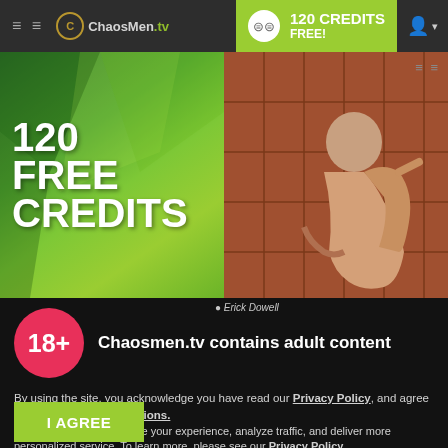ChaosMen.tv — 120 CREDITS FREE!
[Figure (screenshot): Green geometric promotional banner reading '120 FREE CREDITS' in large white bold text on gradient green background]
[Figure (photo): Photo of a man in a shower/tile room. Caption: Erick Dowell]
Erick Dowell
18+  Chaosmen.tv contains adult content
By using the site, you acknowledge you have read our Privacy Policy, and agree to our Terms and Conditions.
We use cookies to optimize your experience, analyze traffic, and deliver more personalized service. To learn more, please see our Privacy Policy.
I AGREE